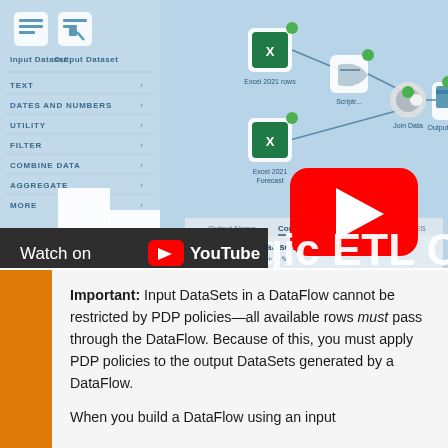[Figure (screenshot): Screenshot of a Magic ETL DataFlow overview video thumbnail showing an ETL diagram workflow with nodes and connections on a blue background, with a YouTube play button overlay and a 'Watch on YouTube' bar at the bottom left. Text 'Magic ETL Ove' visible at bottom right.]
Important: Input DataSets in a DataFlow cannot be restricted by PDP policies—all available rows must pass through the DataFlow. Because of this, you must apply PDP policies to the output DataSets generated by a DataFlow.

When you build a DataFlow using an input